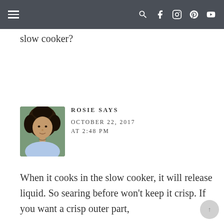Navigation bar with hamburger menu and social icons (search, facebook, instagram, pinterest, youtube)
slow cooker?
[Figure (photo): Avatar photo of Rosie, a woman with curly dark hair]
ROSIE SAYS
OCTOBER 22, 2017
AT 2:48 PM
When it cooks in the slow cooker, it will release liquid. So searing before won't keep it crisp. If you want a crisp outer part, the oven is a must. 🙂